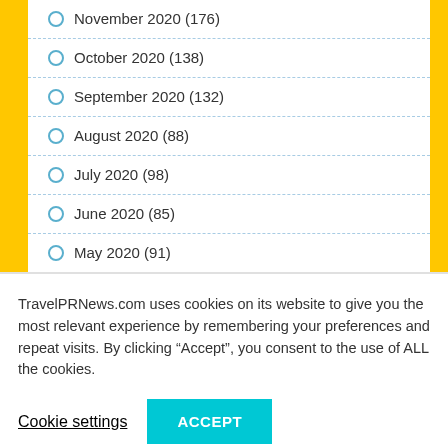November 2020 (176)
October 2020 (138)
September 2020 (132)
August 2020 (88)
July 2020 (98)
June 2020 (85)
May 2020 (91)
April 2020 (81)
March 2020 (96)
TravelPRNews.com uses cookies on its website to give you the most relevant experience by remembering your preferences and repeat visits. By clicking “Accept”, you consent to the use of ALL the cookies.
Cookie settings
ACCEPT